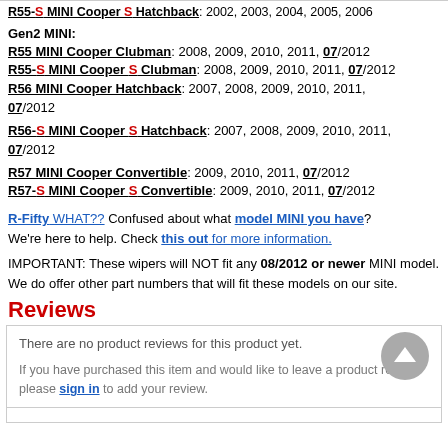R55-S MINI Cooper S Hatchback: 2002, 2003, 2004, 2005, 2006
Gen2 MINI:
R55 MINI Cooper Clubman: 2008, 2009, 2010, 2011, 07/2012
R55-S MINI Cooper S Clubman: 2008, 2009, 2010, 2011, 07/2012
R56 MINI Cooper Hatchback: 2007, 2008, 2009, 2010, 2011, 07/2012
R56-S MINI Cooper S Hatchback: 2007, 2008, 2009, 2010, 2011, 07/2012
R57 MINI Cooper Convertible: 2009, 2010, 2011, 07/2012
R57-S MINI Cooper S Convertible: 2009, 2010, 2011, 07/2012
R-Fifty WHAT?? Confused about what model MINI you have? We're here to help. Check this out for more information.
IMPORTANT: These wipers will NOT fit any 08/2012 or newer MINI model. We do offer other part numbers that will fit these models on our site.
Reviews
There are no product reviews for this product yet.
If you have purchased this item and would like to leave a product review please sign in to add your review.